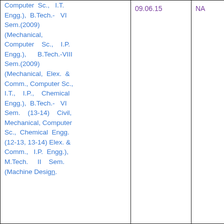| Computer Sc., I.T. Engg.), B.Tech.- VI Sem.(2009) (Mechanical, Computer Sc., I.P. Engg.), B.Tech.-VIII Sem.(2009) (Mechanical, Elex. & Comm., Computer Sc., I.T., I.P., Chemical Engg.), B.Tech.- VI Sem. (13-14) Civil, Mechanical, Computer Sc., Chemical Engg. (12-13, 13-14) Elex. & Comm., I.P. Engg.), M.Tech. II Sem. (Machine Design. | 09.06.15 | NA |